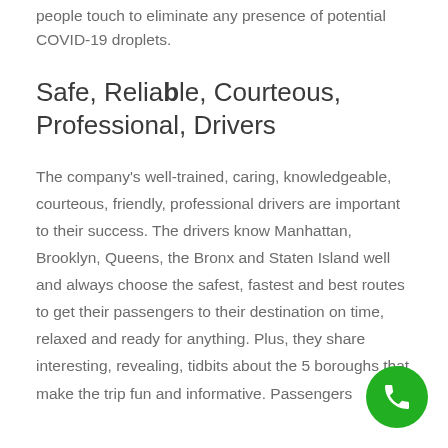people touch to eliminate any presence of potential COVID-19 droplets.
Safe, Reliable, Courteous, Professional, Drivers
The company’s well-trained, caring, knowledgeable, courteous, friendly, professional drivers are important to their success. The drivers know Manhattan, Brooklyn, Queens, the Bronx and Staten Island well and always choose the safest, fastest and best routes to get their passengers to their destination on time, relaxed and ready for anything. Plus, they share interesting, revealing, tidbits about the 5 boroughs that make the trip fun and informative. Passengers